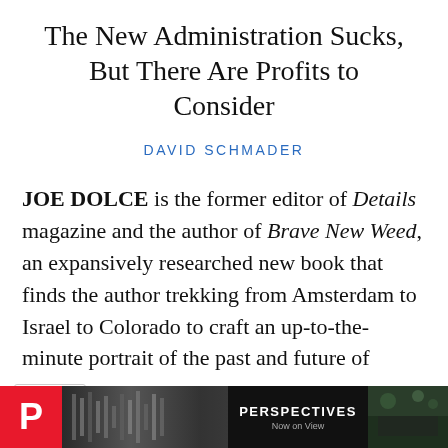The New Administration Sucks, But There Are Profits to Consider
DAVID SCHMADER
JOE DOLCE is the former editor of Details magazine and the author of Brave New Weed, an expansively researched new book that finds the author trekking from Amsterdam to Israel to Colorado to craft an up-to-the-minute portrait of the past and future of cannabis. Six days after a spasmodically
[Figure (screenshot): Advertisement banner at bottom: red P logo on left, black and white photography in middle, PERSPECTIVES Now on View text, outdoor garden photo on right]